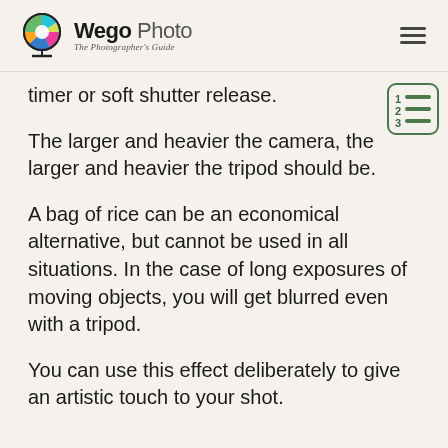Wego Photo — The Photographer's Guide
timer or soft shutter release.
The larger and heavier the camera, the larger and heavier the tripod should be.
A bag of rice can be an economical alternative, but cannot be used in all situations. In the case of long exposures of moving objects, you will get blurred even with a tripod.
You can use this effect deliberately to give an artistic touch to your shot.